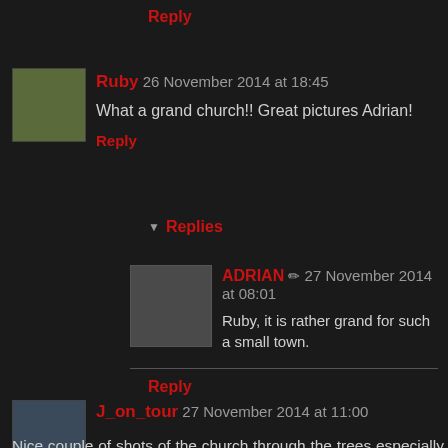Reply
Ruby 26 November 2014 at 18:45
What a grand church!! Great pictures Adrian!
Reply
Replies
ADRIAN ✏ 27 November 2014 at 08:01
Ruby, it is rather grand for such a small town.
Reply
J_on_tour 27 November 2014 at 11:00
Nice couple of shots of the church through the trees especially with the light. I learned a lesson recently when I left the camera at home due the bad weather on what turned out to be the